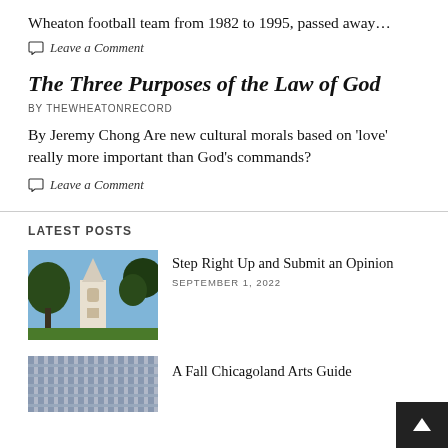Wheaton football team from 1982 to 1995, passed away…
Leave a Comment
The Three Purposes of the Law of God
BY THEWHEATONRECORD
By Jeremy Chong Are new cultural morals based on 'love' really more important than God's commands?
Leave a Comment
LATEST POSTS
Step Right Up and Submit an Opinion
SEPTEMBER 1, 2022
[Figure (photo): Photo of a white church steeple or tower with trees and blue sky in background]
A Fall Chicagoland Arts Guide
[Figure (photo): Partial photo of a modern building with geometric patterns]